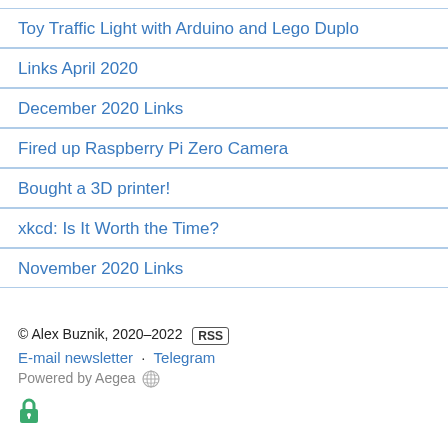Toy Traffic Light with Arduino and Lego Duplo
Links April 2020
December 2020 Links
Fired up Raspberry Pi Zero Camera
Bought a 3D printer!
xkcd: Is It Worth the Time?
November 2020 Links
© Alex Buznik, 2020–2022 RSS
E-mail newsletter · Telegram
Powered by Aegea 🌐
🔒